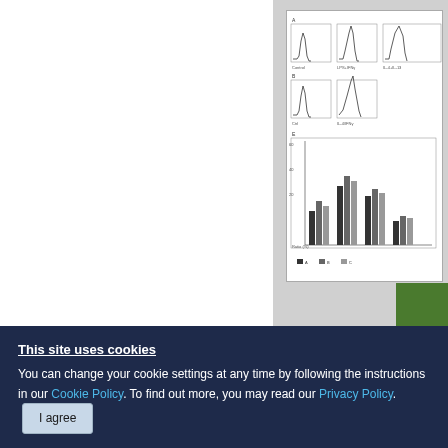[Figure (other): Scientific figure with flow cytometry histograms and bar charts, partially cropped on right side of page]
[Figure (other): Green 'Need help?' vertical button overlay on right side]
Effe
Because of NAC or BS Treatment
This site uses cookies
You can change your cookie settings at any time by following the instructions in our Cookie Policy. To find out more, you may read our Privacy Policy.
I agree